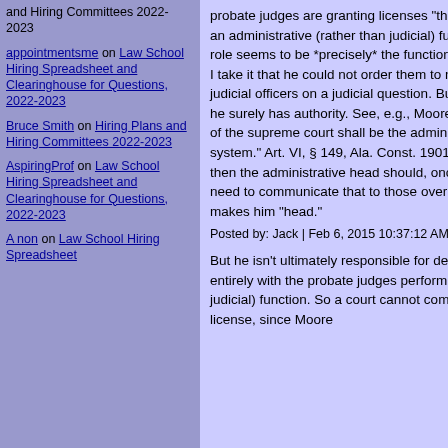and Hiring Committees 2022-2023
appointmentsme on Law School Hiring Spreadsheet and Clearinghouse for Questions, 2022-2023
Bruce Smith on Hiring Plans and Hiring Committees 2022-2023
AspiringProf on Law School Hiring Spreadsheet and Clearinghouse for Questions, 2022-2023
A non on Law School Hiring Spreadsheet
probate judges are granting licenses "the probate judges [are] performing an administrative (rather than judicial) function." But the "administrative" role seems to be *precisely* the function over which Moore has authority. I take it that he could not order them to make a certain decision qua judicial officers on a judicial question. But on an administrative question, he surely has authority. See, e.g., Moore's memo p. 3 ("The chief justice of the supreme court shall be the administrative head of the judicial system." Art. VI, § 149, Ala. Const. 1901.) If it's an administrative function, then the administrative head should, once bound by a court decision, need to communicate that to those over whom the state constitution makes him "head."
Posted by: Jack | Feb 6, 2015 10:37:12 AM
But he isn't ultimately responsible for decisions as to licenses. That is entirely with the probate judges performing an administrative (rather than judicial) function. So a court cannot compel Moore to issue a marriage license, since Moore
PrawfsBl Alumni
PrawfsBl Recomm
Larry Solum (Legal Theory)
CrimProf Blog
ACS Blog
Althouse
Becker-Posner Blog
Crescat Sententia
CrimLaw
Crime & Federalism